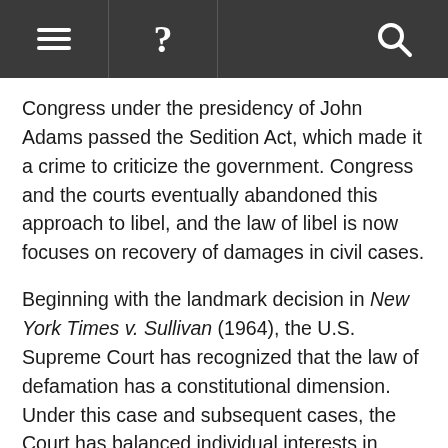≡  ?  [search icon]
Congress under the presidency of John Adams passed the Sedition Act, which made it a crime to criticize the government. Congress and the courts eventually abandoned this approach to libel, and the law of libel is now focuses on recovery of damages in civil cases.
Beginning with the landmark decision in New York Times v. Sullivan (1964), the U.S. Supreme Court has recognized that the law of defamation has a constitutional dimension. Under this case and subsequent cases, the Court has balanced individual interests in reputation with the interests of free speech among society. This approach has altered the rules governing libel and slander, especially where a communication is about a public official or figure, or where the communication is about a matter of public